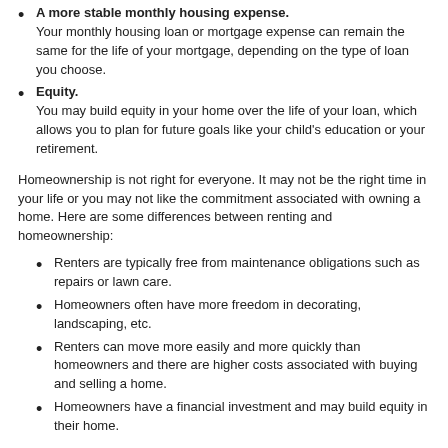A more stable monthly housing expense. Your monthly housing loan or mortgage expense can remain the same for the life of your mortgage, depending on the type of loan you choose.
Equity. You may build equity in your home over the life of your loan, which allows you to plan for future goals like your child's education or your retirement.
Homeownership is not right for everyone. It may not be the right time in your life or you may not like the commitment associated with owning a home. Here are some differences between renting and homeownership:
Renters are typically free from maintenance obligations such as repairs or lawn care.
Homeowners often have more freedom in decorating, landscaping, etc.
Renters can move more easily and more quickly than homeowners and there are higher costs associated with buying and selling a home.
Homeowners have a financial investment and may build equity in their home.
Back to the Top
How Much Can You Afford?